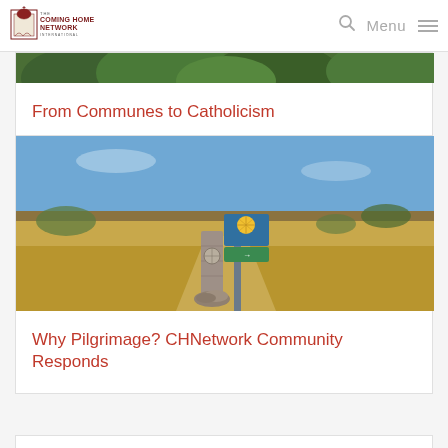The Coming Home Network International — Menu
[Figure (photo): Partial top of image showing green trees — associated with article 'From Communes to Catholicism']
From Communes to Catholicism
[Figure (photo): Camino de Santiago waymarker sign with scallop shell symbol in a dry golden field under blue sky]
Why Pilgrimage? CHNetwork Community Responds
[Figure (photo): Partial bottom card — additional article preview]